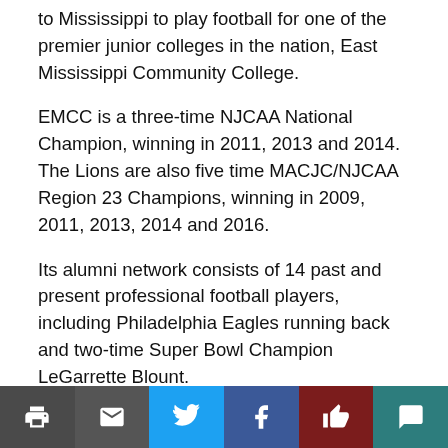to Mississippi to play football for one of the premier junior colleges in the nation, East Mississippi Community College.
EMCC is a three-time NJCAA National Champion, winning in 2011, 2013 and 2014. The Lions are also five time MACJC/NJCAA Region 23 Champions, winning in 2009, 2011, 2013, 2014 and 2016.
Its alumni network consists of 14 past and present professional football players, including Philadelphia Eagles running back and two-time Super Bowl Champion LeGarrette Blount.
Situated in Scooba, Mississippi — a rural community with a population of roughly 700 — East Mississippi CC's...